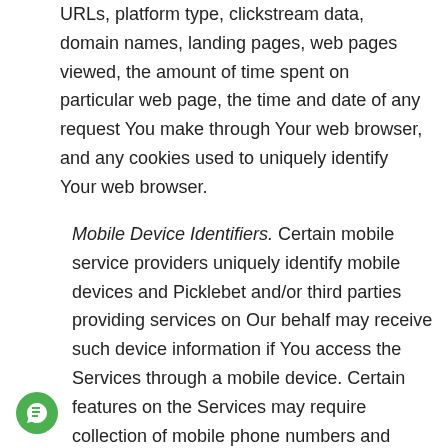URLs, platform type, clickstream data, domain names, landing pages, web pages viewed, the amount of time spent on particular web page, the time and date of any request You make through Your web browser, and any cookies used to uniquely identify Your web browser.
Mobile Device Identifiers. Certain mobile service providers uniquely identify mobile devices and Picklebet and/or third parties providing services on Our behalf may receive such device information if You access the Services through a mobile device. Certain features on the Services may require collection of mobile phone numbers and Picklebet may associate that phone number to mobile device identification information. Additionally,